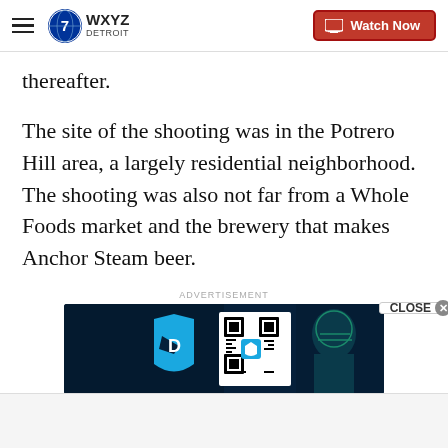WXYZ Detroit — Watch Now
thereafter.
The site of the shooting was in the Potrero Hill area, a largely residential neighborhood. The shooting was also not far from a Whole Foods market and the brewery that makes Anchor Steam beer.
ADVERTISEMENT
[Figure (screenshot): DraftKings advertisement banner with blue logo shield, QR code, and football player helmet on dark blue background.]